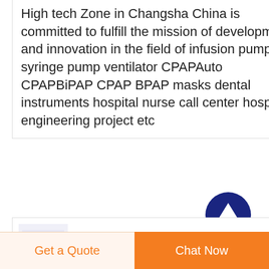High Tech Zone in Changsha China is committed to fulfill the mission of development and innovation in the field of infusion pump syringe pump ventilator CPAPAuto CPAPBiPAP CPAP BPAP masks dental instruments hospital nurse call center hospital engineering project etc
[Figure (other): Back to top button — dark navy blue circle with white upward arrow]
China Infusion Set manufacturer Syringe Injection Needle
Get a Quote
Chat Now